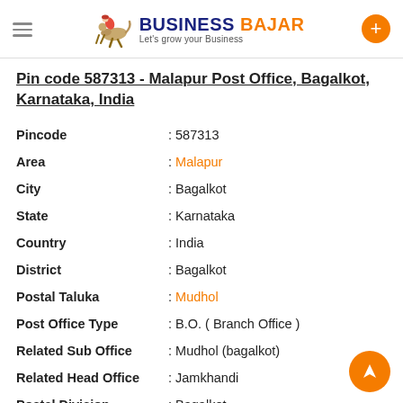Business Bajar — Let's grow your Business
Pin code 587313 - Malapur Post Office, Bagalkot, Karnataka, India
| Field | Value |
| --- | --- |
| Pincode | : 587313 |
| Area | : Malapur |
| City | : Bagalkot |
| State | : Karnataka |
| Country | : India |
| District | : Bagalkot |
| Postal Taluka | : Mudhol |
| Post Office Type | : B.O. ( Branch Office ) |
| Related Sub Office | : Mudhol (bagalkot) |
| Related Head Office | : Jamkhandi |
| Postal Division | : Bagalkot |